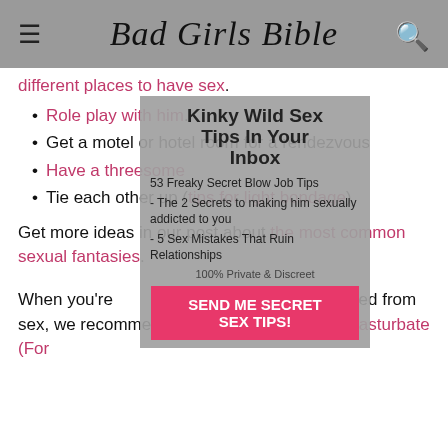Bad Girls Bible
different places to have sex.
Role play with him.
Get a motel or hotel room for a rendezvous
Have a threesome
Tie each other up (tips for light bondage)
Get more ideas in our post about the most common sexual fantasies.
[Figure (screenshot): Overlay newsletter signup popup with title 'Kinky Wild Sex Tips In Your Inbox', bullet items '53 Freaky Secret Blow Job Tips', 'The 2 Secrets to making him sexually addicted to you', '- 5 Sex Mistakes That Ruin Relationships', '100% Private & Discreet', and a pink button 'SEND ME SECRET SEX TIPS!']
When you're [obscured] what you want and need from sex, we recommend masturbating (How To Masturbate (For